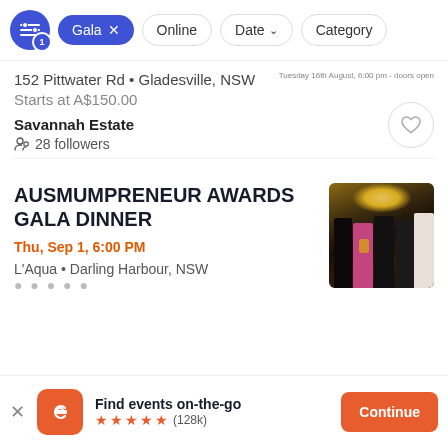Filter bar: Gala (active filter), Online, Date, Category
152 Pittwater Rd • Gladesville, NSW
Starts at A$150.00
Savannah Estate
28 followers
AUSMUMPRENEUR AWARDS GALA DINNER
Thu, Sep 1, 6:00 PM
L'Aqua • Darling Harbour, NSW
[Figure (photo): Group photo of five women at a gala dinner event, with a chandelier in the background.]
Find events on-the-go
★★★★★ (128k)
Continue